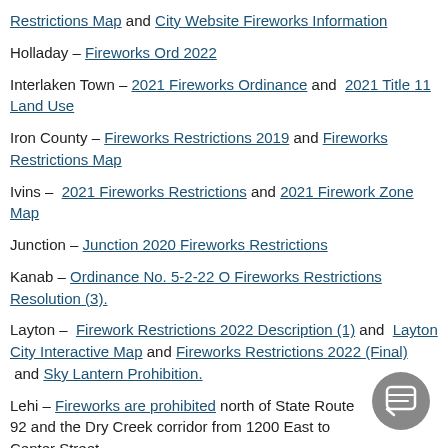Restrictions Map and City Website Fireworks Information
Holladay – Fireworks Ord 2022
Interlaken Town – 2021 Fireworks Ordinance and 2021 Title 11 Land Use
Iron County – Fireworks Restrictions 2019 and Fireworks Restrictions Map
Ivins – 2021 Fireworks Restrictions and 2021 Firework Zone Map
Junction – Junction 2020 Fireworks Restrictions
Kanab – Ordinance No. 5-2-22 O Fireworks Restrictions Resolution (3).
Layton – Firework Restrictions 2022 Description (1) and Layton City Interactive Map and Fireworks Restrictions 2022 (Final) and Sky Lantern Prohibition.
Lehi – Fireworks are prohibited north of State Route 92 and the Dry Creek corridor from 1200 East to Center Street.